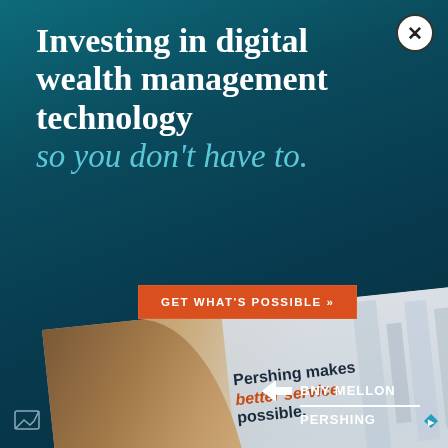Investing in digital wealth management technology so you don't have to.
GET WHAT'S POSSIBLE >>
[Figure (photo): Woman in tan turtleneck looking at a tablet, with city buildings in background; overlaid text: 'Pershing makes better service possible.']
Pershing makes better service possible.
BNY MELLON | PERSHING